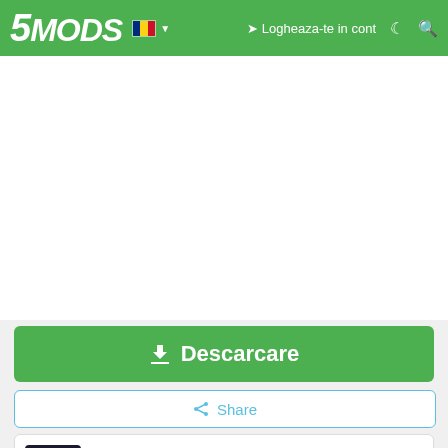5MODS — Logheaza-te in cont
[Figure (screenshot): Empty white content/advertisement area]
Descarcare
Share
OhiOcinu & GreenAid